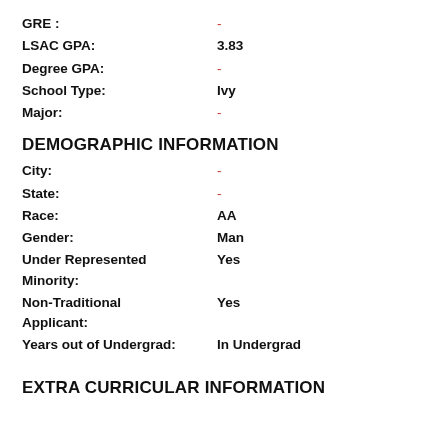GRE : -
LSAC GPA: 3.83
Degree GPA: -
School Type: Ivy
Major: -
DEMOGRAPHIC INFORMATION
City: -
State: -
Race: AA
Gender: Man
Under Represented Minority: Yes
Non-Traditional Applicant: Yes
Years out of Undergrad: In Undergrad
EXTRA CURRICULAR INFORMATION